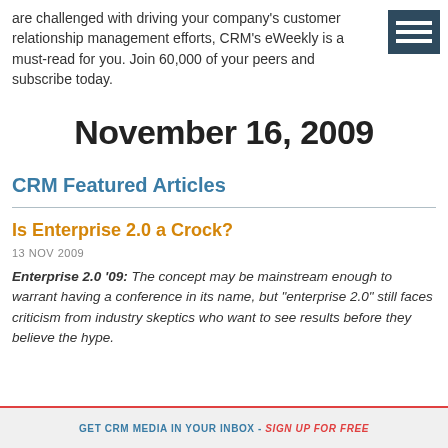are challenged with driving your company's customer relationship management efforts, CRM's eWeekly is a must-read for you. Join 60,000 of your peers and subscribe today.
November 16, 2009
CRM Featured Articles
Is Enterprise 2.0 a Crock?
13 NOV 2009
Enterprise 2.0 '09: The concept may be mainstream enough to warrant having a conference in its name, but "enterprise 2.0" still faces criticism from industry skeptics who want to see results before they believe the hype.
GET CRM MEDIA IN YOUR INBOX - SIGN UP FOR FREE